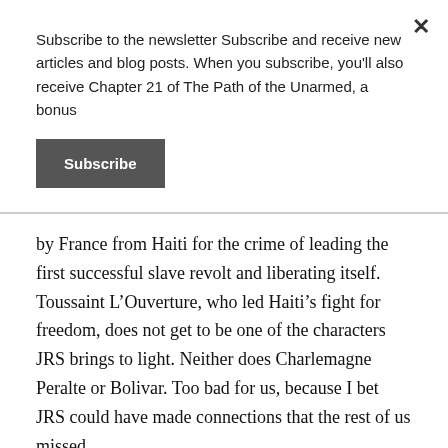Subscribe to the newsletter Subscribe and receive new articles and blog posts. When you subscribe, you'll also receive Chapter 21 of The Path of the Unarmed, a bonus
Subscribe
by France from Haiti for the crime of leading the first successful slave revolt and liberating itself. Toussaint L’Ouverture, who led Haiti’s fight for freedom, does not get to be one of the characters JRS brings to light. Neither does Charlemagne Peralte or Bolivar. Too bad for us, because I bet JRS could have made connections that the rest of us missed.
The Zapatistas explicitly used “their word as